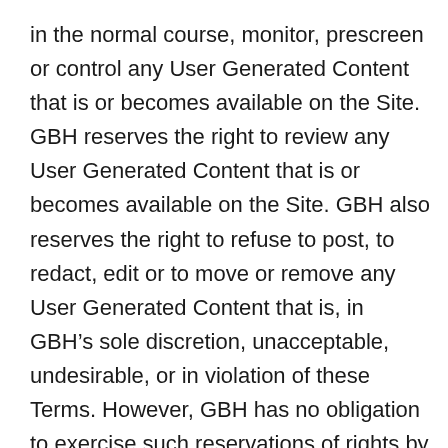in the normal course, monitor, prescreen or control any User Generated Content that is or becomes available on the Site. GBH reserves the right to review any User Generated Content that is or becomes available on the Site. GBH also reserves the right to refuse to post, to redact, edit or to move or remove any User Generated Content that is, in GBH’s sole discretion, unacceptable, undesirable, or in violation of these Terms. However, GBH has no obligation to exercise such reservations of rights by GBH and is not responsible for any failure or delay in removing such material.